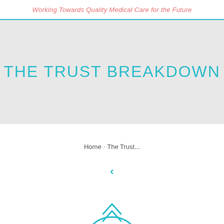Working Towards Quality Medical Care for the Future
THE TRUST BREAKDOWN
Home › The Trust...
‹
[Figure (illustration): Circular icon with upward chevron/arrow symbol in teal outline style, partially visible at bottom of page]